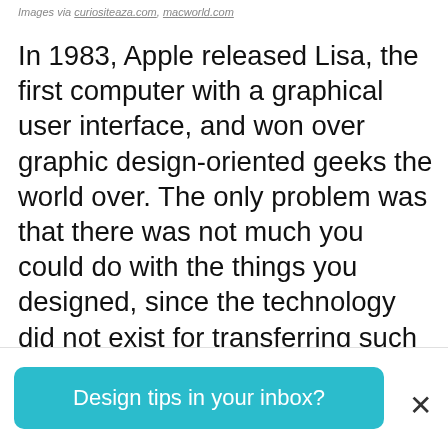Images via curiositeaza.com, macworld.com
In 1983, Apple released Lisa, the first computer with a graphical user interface, and won over graphic design-oriented geeks the world over. The only problem was that there was not much you could do with the things you designed, since the technology did not exist for transferring such complex information to the printed page. Text output was readable, but far from professional-quality status. And images? Forget about it.
Design tips in your inbox?